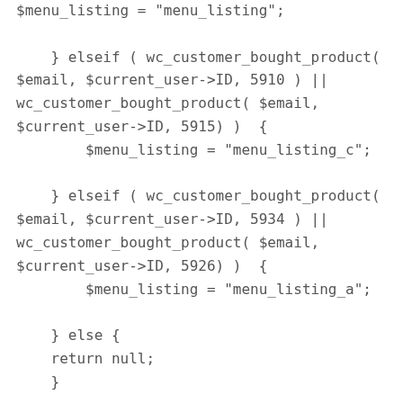$menu_listing = "menu_listing";

    } elseif ( wc_customer_bought_product( $email, $current_user->ID, 5910 ) || wc_customer_bought_product( $email, $current_user->ID, 5915) )  {
        $menu_listing = "menu_listing_c";

    } elseif ( wc_customer_bought_product( $email, $current_user->ID, 5934 ) || wc_customer_bought_product( $email, $current_user->ID, 5926) )  {
        $menu_listing = "menu_listing_a";

    } else {
    return null;
    }